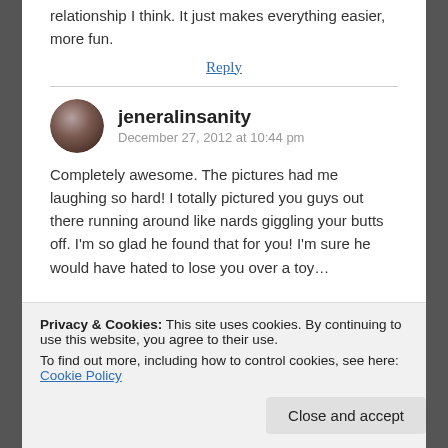relationship I think. It just makes everything easier, more fun.
Reply
jeneralinsanity
December 27, 2012 at 10:44 pm
Completely awesome. The pictures had me laughing so hard! I totally pictured you guys out there running around like nards giggling your butts off. I'm so glad he found that for you! I'm sure he would have hated to lose you over a toy…
Privacy & Cookies: This site uses cookies. By continuing to use this website, you agree to their use.
To find out more, including how to control cookies, see here: Cookie Policy
Close and accept